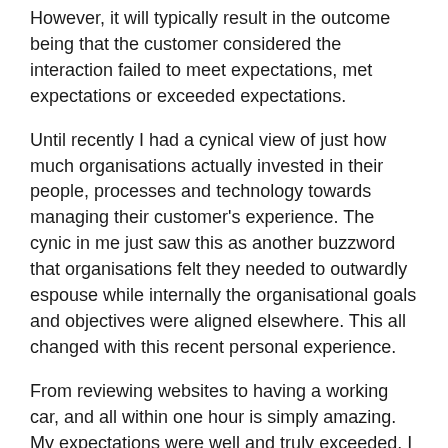However, it will typically result in the outcome being that the customer considered the interaction failed to meet expectations, met expectations or exceeded expectations.
Until recently I had a cynical view of just how much organisations actually invested in their people, processes and technology towards managing their customer's experience. The cynic in me just saw this as another buzzword that organisations felt they needed to outwardly espouse while internally the organisational goals and objectives were aligned elsewhere. This all changed with this recent personal experience.
From reviewing websites to having a working car, and all within one hour is simply amazing. My expectations were well and truly exceeded. I was so impressed that a few days later I visited the "Contact Us" section of their website to leave them with some